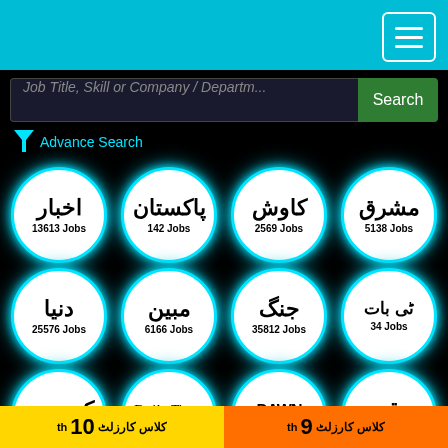[Figure (screenshot): Job search website screenshot with navigation bar, search bar, advance search filter, and grid of newspaper/publication logos as circular icons each showing number of jobs]
Job Title, Skill or Company / Department
Search
Advance Search
13613 Jobs
142 Jobs
2569 Jobs
5138 Jobs
25576 Jobs
6166 Jobs
35812 Jobs
34 Jobs
46216 Jobs
1423 Jobs
22862 Jobs
8603 Jobs